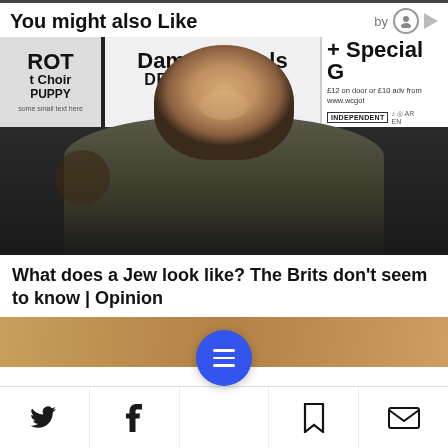You might also Like
[Figure (photo): A man with a shaved head and small mohawk streak, tattooed neck, wearing a green top, sitting against a black wall with concert/event posters behind him reading 'Damn Vandals DEVIANT HEART Kajiki Volt' and '+ Special G' and 'INDEPENDENT']
What does a Jew look like? The Brits don't seem to know | Opinion
[Figure (photo): Partial image of a person, warm brown/tan skin tones visible at bottom of page]
Social sharing icons: Twitter, Facebook, menu button, Bookmark, Mail